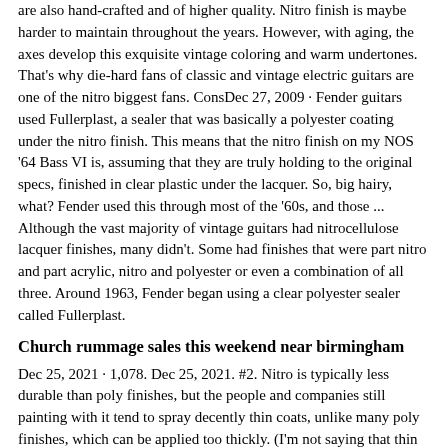are also hand-crafted and of higher quality. Nitro finish is maybe harder to maintain throughout the years. However, with aging, the axes develop this exquisite vintage coloring and warm undertones. That's why die-hard fans of classic and vintage electric guitars are one of the nitro biggest fans. ConsDec 27, 2009 · Fender guitars used Fullerplast, a sealer that was basically a polyester coating under the nitro finish. This means that the nitro finish on my NOS '64 Bass VI is, assuming that they are truly holding to the original specs, finished in clear plastic under the lacquer. So, big hairy, what? Fender used this through most of the '60s, and those ... Although the vast majority of vintage guitars had nitrocellulose lacquer finishes, many didn't. Some had finishes that were part nitro and part acrylic, nitro and polyester or even a combination of all three. Around 1963, Fender began using a clear polyester sealer called Fullerplast.
Church rummage sales this weekend near birmingham
Dec 25, 2021 · 1,078. Dec 25, 2021. #2. Nitro is typically less durable than poly finishes, but the people and companies still painting with it tend to spray decently thin coats, unlike many poly finishes, which can be applied too thickly. (I'm not saying that thin poly finishes aren't possible, or can't sound the same as nitro, just that it's not ... Nick Johnston USA Signature Nitro Finish 6-String Electric Guitar Specifications: Body. Body shape: Double cutaway